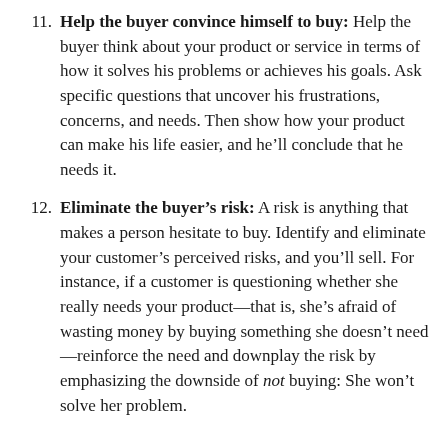Help the buyer convince himself to buy: Help the buyer think about your product or service in terms of how it solves his problems or achieves his goals. Ask specific questions that uncover his frustrations, concerns, and needs. Then show how your product can make his life easier, and he'll conclude that he needs it.
Eliminate the buyer's risk: A risk is anything that makes a person hesitate to buy. Identify and eliminate your customer's perceived risks, and you'll sell. For instance, if a customer is questioning whether she really needs your product—that is, she's afraid of wasting money by buying something she doesn't need—reinforce the need and downplay the risk by emphasizing the downside of not buying: She won't solve her problem.